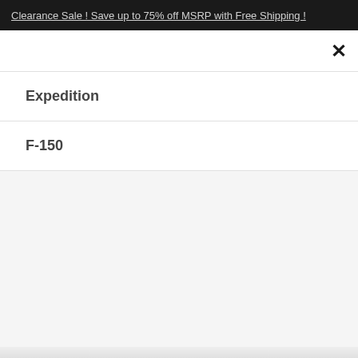Clearance Sale ! Save up to 75% off MSRP with Free Shipping !
×
Expedition
F-150